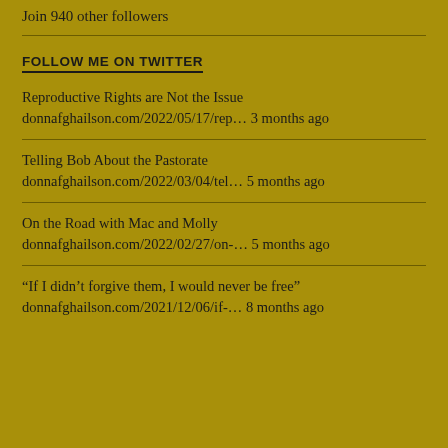Join 940 other followers
FOLLOW ME ON TWITTER
Reproductive Rights are Not the Issue donnafghailson.com/2022/05/17/rep… 3 months ago
Telling Bob About the Pastorate donnafghailson.com/2022/03/04/tel… 5 months ago
On the Road with Mac and Molly donnafghailson.com/2022/02/27/on-… 5 months ago
“If I didn’t forgive them, I would never be free” donnafghailson.com/2021/12/06/if-… 8 months ago